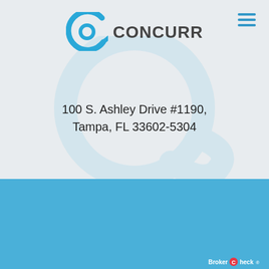[Figure (logo): Concurrent financial advisors logo — blue circular arrow/C icon with text CONCURRENT in dark grey]
100 S. Ashley Drive #1190,
Tampa, FL 33602-5304
© 2021 Concurrent's network of financial advisors are registered representatives of and offer securities through Raymond James Financial Services, Inc., member FINRA/SIPC and investment adviser representatives and provide investment advice on behalf of Raymond James Financial Services Advisors, Inc. Concurrent is not a registered broker/dealer or investment adviser and is independent of Raymond James. Raymond James is...
[Figure (logo): BrokerCheck logo in white at bottom right]